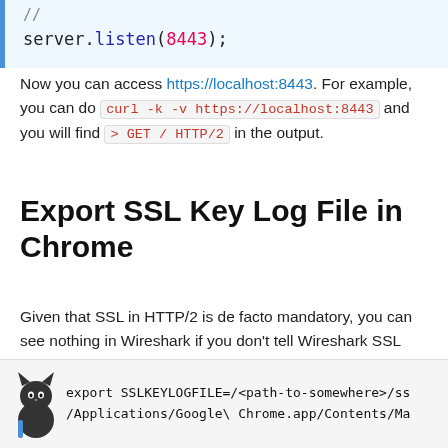server.listen(8443);
Now you can access https://localhost:8443. For example, you can do curl -k -v https://localhost:8443 and you will find > GET / HTTP/2 in the output.
Export SSL Key Log File in Chrome
Given that SSL in HTTP/2 is de facto mandatory, you can see nothing in Wireshark if you don't tell Wireshark SSL secure file.
To do so, you need to add SSLKEYLOGFILE env variable. Chrome( or Firefox) will save the SSL session to that file when it loads a HTTPS website.
export SSLKEYLOGFILE=/<path-to-somewhere>/ss /Applications/Google\ Chrome.app/Contents/Ma